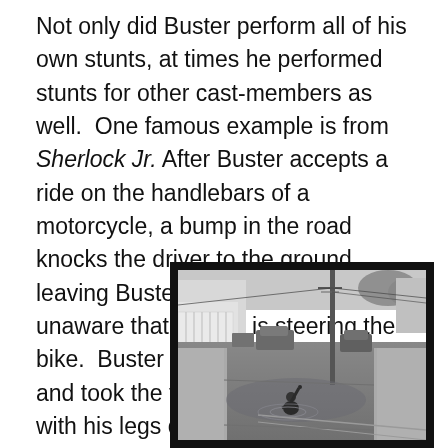Not only did Buster perform all of his own stunts, at times he performed stunts for other cast-members as well. One famous example is from Sherlock Jr. After Buster accepts a ride on the handlebars of a motorcycle, a bump in the road knocks the driver to the ground, leaving Buster to ride on alone, unaware that no one is steering the bike. Buster dressed as the driver and took the fall for the shot, landing with his legs characteristically spread eagle.
[Figure (photo): Black and white still from Sherlock Jr. showing a street scene. A figure sits in the middle of a wet road with one arm raised, surrounded by period automobiles, telephone poles, fences, and buildings on either side.]